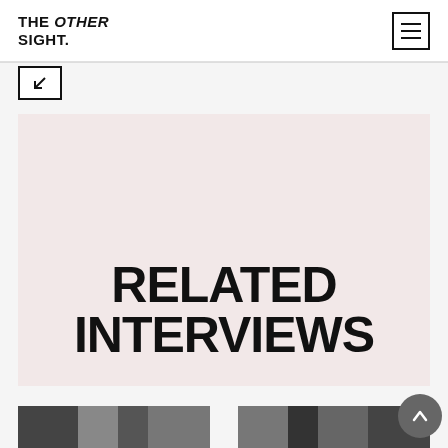THE OTHER SIGHT.
[Figure (screenshot): Navigation back button, small square with diagonal arrow]
[Figure (illustration): Pink/blush background panel with large bold text reading RELATED INTERVIEWS]
[Figure (photo): Black and white photo thumbnail, bottom left]
[Figure (photo): Black and white photo thumbnail, bottom right]